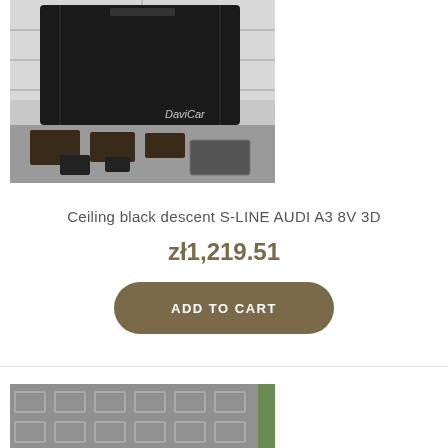[Figure (photo): Photo of black car ceiling/headliner components and interior trim parts laid out on a garage floor with DaviCar watermark]
Ceiling black descent S-LINE AUDI A3 8V 3D
zł1,219.51
ADD TO CART
[Figure (photo): Partial photo of gray patterned surface or fabric material]